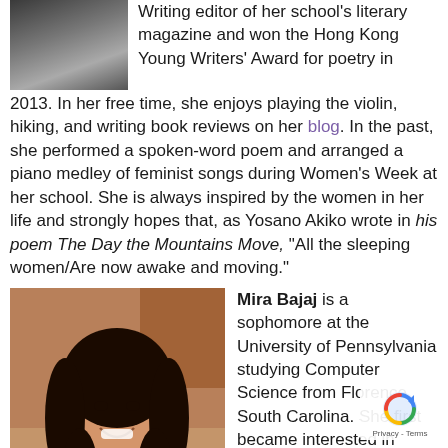[Figure (photo): Small photo of a young woman with dark hair at the top left of the page]
Writing editor of her school's literary magazine and won the Hong Kong Young Writers' Award for poetry in 2013. In her free time, she enjoys playing the violin, hiking, and writing book reviews on her blog. In the past, she performed a spoken-word poem and arranged a piano medley of feminist songs during Women's Week at her school. She is always inspired by the women in her life and strongly hopes that, as Yosano Akiko wrote in his poem The Day the Mountains Move, “All the sleeping women/Are now awake and moving.”
[Figure (photo): Photo of Mira Bajaj, a young woman with long curly dark hair wearing a white top, smiling]
Mira Bajaj is a sophomore at the University of Pennsylvania studying Computer Science from Florence, South Carolina. She first became interested in Computer Science after to the South Carolina Governor’s School for Science